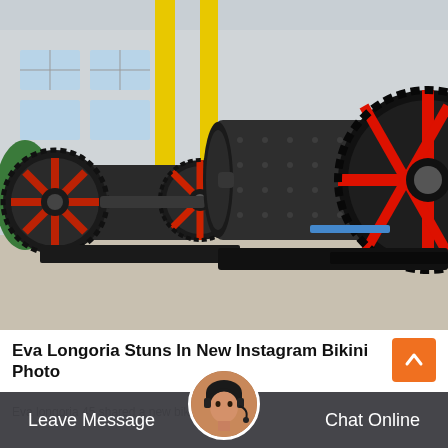[Figure (photo): Industrial ball mills (large cylindrical grinding machines) with black metal bodies, red and black gear wheels/flanges, displayed on a factory floor with a yellow overhead crane structure and grey warehouse building in the background.]
Eva Longoria Stuns In New Instagram Bikini Photo
Eva longoria 45 shared a new bikini photo on